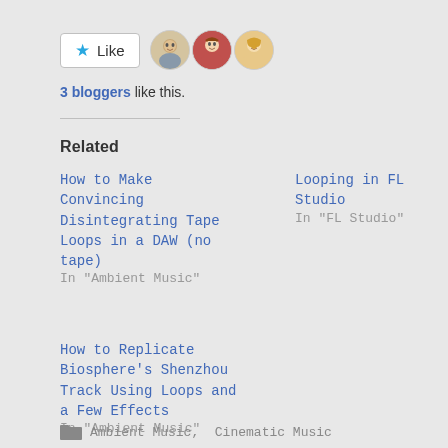[Figure (other): Like button with star icon and 3 blogger avatars]
3 bloggers like this.
Related
How to Make Convincing Disintegrating Tape Loops in a DAW (no tape)
In "Ambient Music"
Looping in FL Studio
In "FL Studio"
How to Replicate Biosphere's Shenzhou Track Using Loops and a Few Effects
In "Ambient Music"
Ambient Music, Cinematic Music